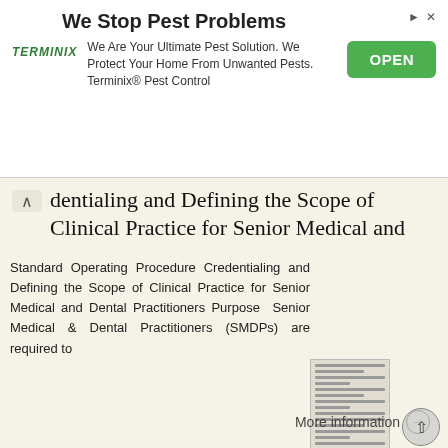[Figure (other): Terminix advertisement banner with logo, headline 'We Stop Pest Problems', body text about pest control, and green OPEN button]
dentialing and Defining the Scope of Clinical Practice for Senior Medical and
Standard Operating Procedure Credentialing and Defining the Scope of Clinical Practice for Senior Medical and Dental Practitioners Purpose Senior Medical & Dental Practitioners (SMDPs) are required to
More information →
Standard 5. Patient Identification and Procedure Matching. Safety and Quality Improvement Guide
Standard 5 Patient Identification and Procedure Matching Safety and Quality